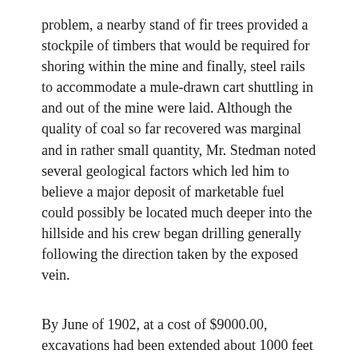problem, a nearby stand of fir trees provided a stockpile of timbers that would be required for shoring within the mine and finally, steel rails to accommodate a mule-drawn cart shuttling in and out of the mine were laid. Although the quality of coal so far recovered was marginal and in rather small quantity, Mr. Stedman noted several geological factors which led him to believe a major deposit of marketable fuel could possibly be located much deeper into the hillside and his crew began drilling generally following the direction taken by the exposed vein.
By June of 1902, at a cost of $9000.00, excavations had been extended about 1000 feet underground with more than 1300 feet of track laid for the mule cart. (The greater length of track was required to ensure